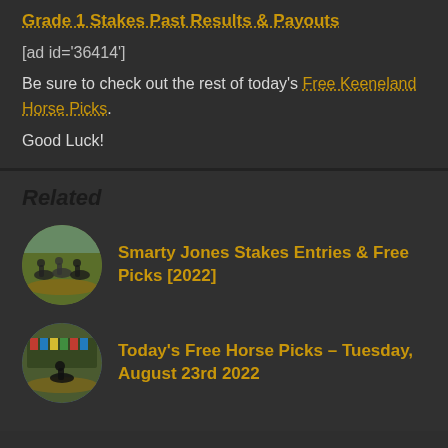Grade 1 Stakes Past Results & Payouts
[ad id='36414']
Be sure to check out the rest of today's Free Keeneland Horse Picks.
Good Luck!
Related
Smarty Jones Stakes Entries & Free Picks [2022]
Today's Free Horse Picks – Tuesday, August 23rd 2022